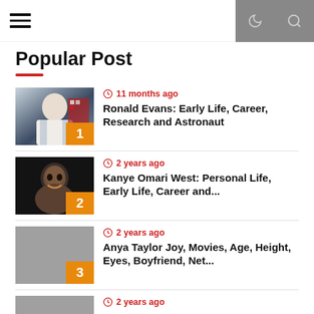hamburger menu, dark mode, search icons
Popular Post
11 months ago — Ronald Evans: Early Life, Career, Research and Astronaut
2 years ago — Kanye Omari West: Personal Life, Early Life, Career and...
2 years ago — Anya Taylor Joy, Movies, Age, Height, Eyes, Boyfriend, Net...
2 years ago — (partial, cut off)